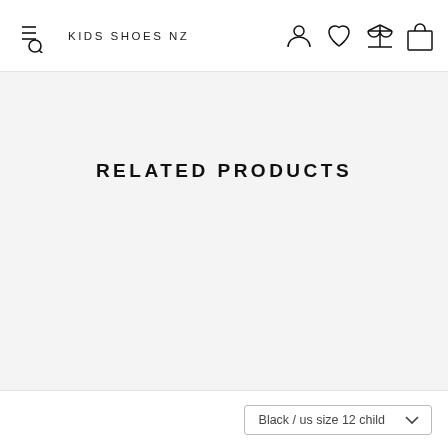KIDS SHOES NZ
RELATED PRODUCTS
Black / us size 12 child